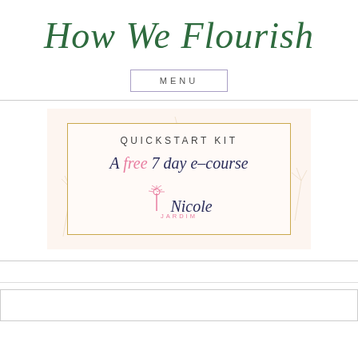How We Flourish
MENU
[Figure (illustration): Promotional card for 'Quickstart Kit - A free 7 day e-course' by Nicole Jardim, with a floral dandelion background border and gold inner border frame.]